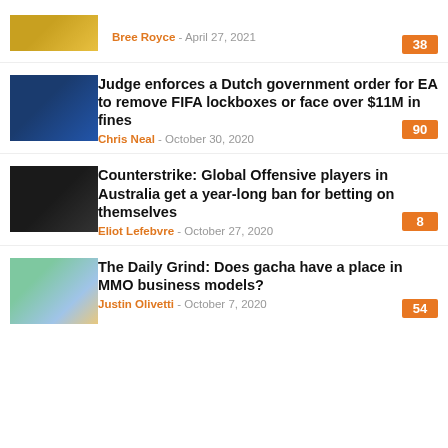[Figure (photo): Partial article thumbnail at top, soccer/sports related]
Bree Royce - April 27, 2021
[Figure (photo): Soccer player in blue jersey on a pitch]
Judge enforces a Dutch government order for EA to remove FIFA lockboxes or face over $11M in fines
Chris Neal - October 30, 2020
[Figure (photo): Counter-Strike game scene, dark military equipment]
Counterstrike: Global Offensive players in Australia get a year-long ban for betting on themselves
Eliot Lefebvre - October 27, 2020
[Figure (photo): Colorful fantasy landscape, gacha game art]
The Daily Grind: Does gacha have a place in MMO business models?
Justin Olivetti - October 7, 2020